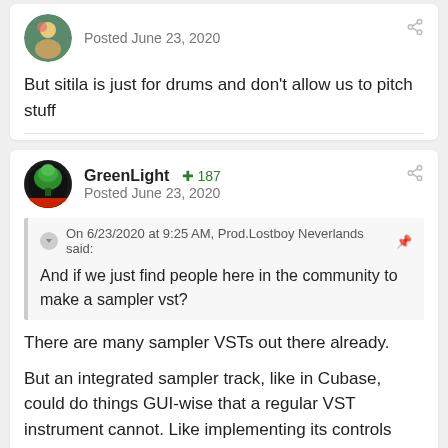Posted June 23, 2020
But sitila is just for drums and don't allow us to pitch stuff
GreenLight +187
Posted June 23, 2020
On 6/23/2020 at 9:25 AM, Prod.Lostboy Neverlands said:
And if we just find people here in the community to make a sampler vst?
There are many sampler VSTs out there already.
But an integrated sampler track, like in Cubase, could do things GUI-wise that a regular VST instrument cannot. Like implementing its controls directly into the DAW, which to